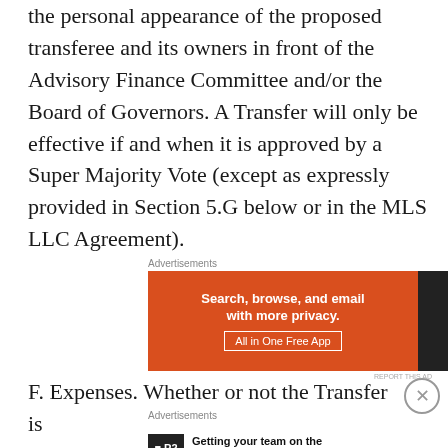the personal appearance of the proposed transferee and its owners in front of the Advisory Finance Committee and/or the Board of Governors. A Transfer will only be effective if and when it is approved by a Super Majority Vote (except as expressly provided in Section 5.G below or in the MLS LLC Agreement).
[Figure (other): DuckDuckGo advertisement banner: 'Search, browse, and email with more privacy. All in One Free App' on orange background with DuckDuckGo logo on dark background.]
F. Expenses. Whether or not the Transfer is
[Figure (other): P2 advertisement: 'Getting your team on the same page is easy. And free.' with P2 logo.]